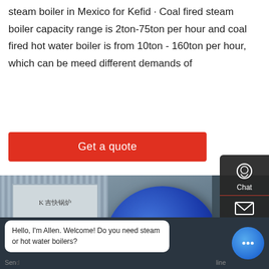steam boiler in Mexico for Kefid · Coal fired steam boiler capacity range is 2ton-75ton per hour and coal fired hot water boiler is from 10ton - 160ton per hour, which can be meed different demands of
[Figure (other): Red 'Get a quote' button]
[Figure (photo): Industrial coal-fired steam boiler with blue cylindrical tank, corrugated metal cladding, scaffold structure, branded signage in Chinese (Kefid logo), and yellow pipes at an industrial facility.]
[Figure (other): Right-side floating widget panel with Chat, Email, and Contact icons on dark background]
[Figure (other): Bottom chat bar: Allen chatbot greeting 'Hello, I'm Allen. Welcome! Do you need steam or hot water boilers?' with Send and online text partially visible]